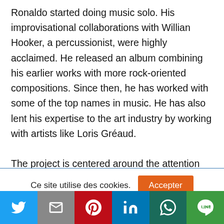Ronaldo started doing music solo. His improvisational collaborations with Willian Hooker, a percussionist, were highly acclaimed. He released an album combining his earlier works with more rock-oriented compositions. Since then, he has worked with some of the top names in music. He has also lent his expertise to the art industry by working with artists like Loris Gréaud.

The project is centered around the attention given to the work and space of Loris' immersive
Ce site utilise des cookies.
[Figure (other): Social share bar with Twitter, Gmail, Pinterest, LinkedIn, WhatsApp, and LINE buttons]